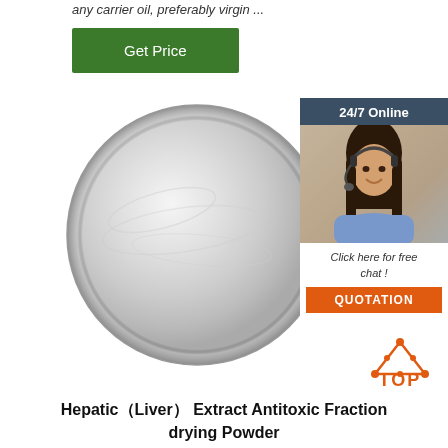any carrier oil, preferably virgin ...
Get Price
[Figure (photo): Circular plate containing white/light grey dry powder, shown from above on a white background]
[Figure (infographic): 24/7 Online customer service widget with a smiling female agent wearing headset, a 'Click here for free chat!' message, and an orange QUOTATION button]
[Figure (logo): TOP logo with orange triangle/dots above the word TOP in orange]
Hepatic（Liver） Extract Antitoxic Fraction drying Powder